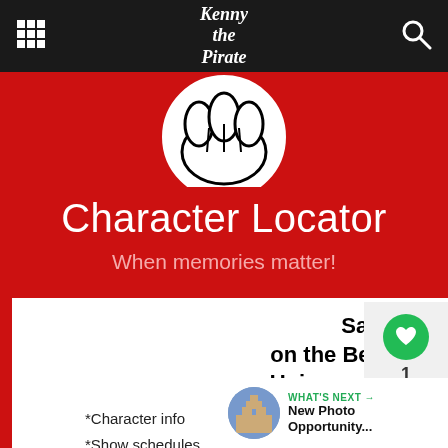Kenny the Pirate
[Figure (illustration): Mickey Mouse gloved hand icon in a white circle on red background, partially cropped at top]
Character Locator
When memories matter!
Save 20% on the Best Disney and Universal Planning Info
*Character info
*Show schedules
*Ride details
*Crowd caldendars
*Touring plans